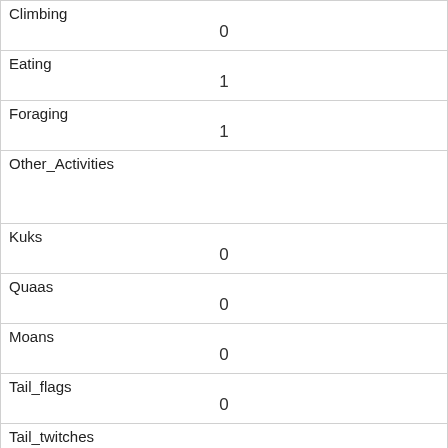| Climbing | 0 |
| Eating | 1 |
| Foraging | 1 |
| Other_Activities |  |
| Kuks | 0 |
| Quaas | 0 |
| Moans | 0 |
| Tail_flags | 0 |
| Tail_twitches | 0 |
| Approaches | 0 |